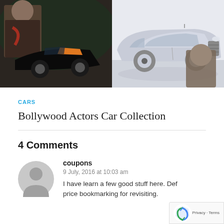[Figure (photo): Collage of two images: left shows a Bollywood actor beside a dark luxury/sports car with orange accents, right shows a silver/grey Rolls-Royce sedan with another actor in the background]
CARS
Bollywood Actors Car Collection
4 Comments
[Figure (illustration): Generic grey user avatar (silhouette of person with circular head and shoulder shape)]
coupons
9 July, 2016 at 10:03 am
I have learn a few good stuff here. Defi price bookmarking for revisiting.